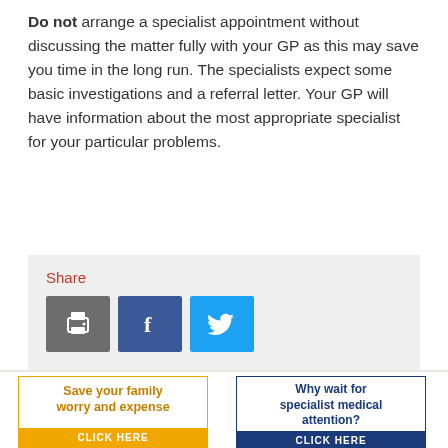Do not arrange a specialist appointment without discussing the matter fully with your GP as this may save you time in the long run. The specialists expect some basic investigations and a referral letter. Your GP will have information about the most appropriate specialist for your particular problems.
[Figure (screenshot): Share section with print, Facebook, and Twitter buttons on a light grey background]
Site
Home
[Figure (infographic): Ad: Save your family worry and expense - CLICK HERE (orange border and button)]
[Figure (infographic): Ad: Why wait for specialist medical attention? - CLICK HERE (dark blue border and button)]